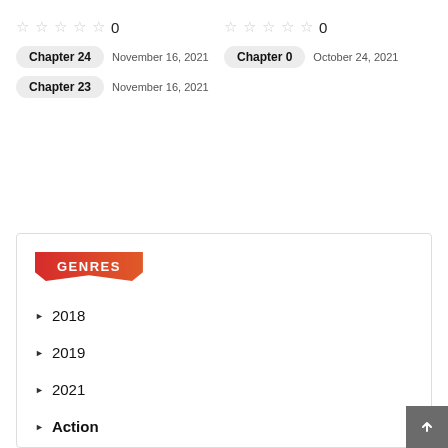☆☆☆☆☆ 0
Chapter 24  November 16, 2021
Chapter 23  November 16, 2021
☆☆☆☆☆ 0
Chapter 0  October 24, 2021
GENRES
2018
2019
2021
Action